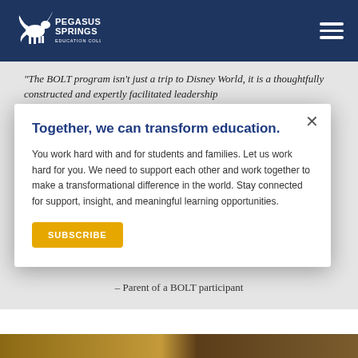[Figure (logo): Pegasus Springs Education Collective logo — white winged horse graphic with text 'PEGASUS SPRINGS EDUCATION COLLECTIVE' on navy background]
“The BOLT program isn’t just a trip to Disney World, it is a thoughtfully constructed and expertly facilitated leadership
Together, we can transform education.
You work hard with and for students and families. Let us work hard for you. We need to support each other and work together to make a transformational difference in the world. Stay connected for support, insight, and meaningful learning opportunities.
SUBSCRIBE
– Parent of a BOLT participant
[Figure (photo): Partial photo strip at bottom of page showing people]